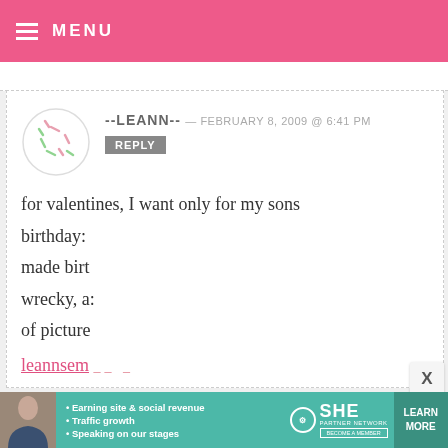MENU
--LEANN-- — FEBRUARY 8, 2009 @ 6:41 PM
REPLY
for valentines, I want only for my sons birthday: made birt wrecky, a: of picture
leannsem __
[Figure (infographic): SHE Partner Network advertisement banner with woman photo, bullet points about earning site & social revenue, traffic growth, speaking on stages, SHE logo, and LEARN MORE button]